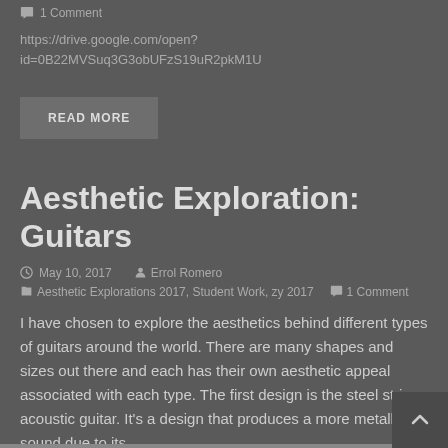1 Comment
https://drive.google.com/open?id=0B22MVSuq3G3obUFzS19uR2pkM1U
READ MORE
Aesthetic Exploration: Guitars
May 10, 2017  Errol Romero
Aesthetic Explorations 2017, Student Work, zy 2017  1 Comment
I have chosen to explore the aesthetics behind different types of guitars around the world. There are many shapes and sizes out there and each has their own aesthetic appeal associated with each type. The first design is the steel string acoustic guitar. It's a design that produces a more metallic sound due to its…